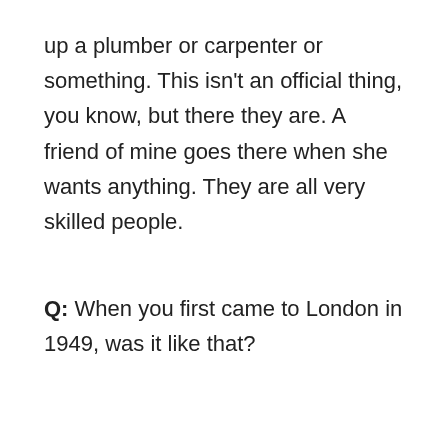up a plumber or carpenter or something. This isn't an official thing, you know, but there they are. A friend of mine goes there when she wants anything. They are all very skilled people.
Q: When you first came to London in 1949, was it like that?
A: No, what was happening then was everyone l